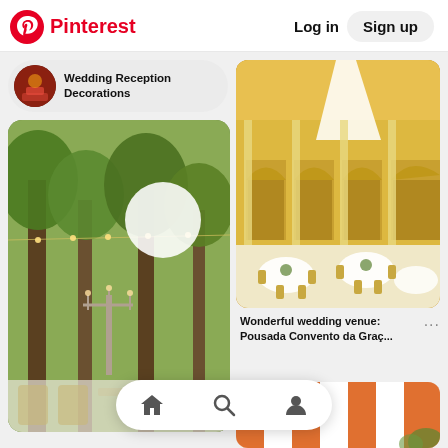Pinterest  Log in  Sign up
[Figure (screenshot): Pinterest search pill showing 'Wedding Reception Decorations' with a circular avatar thumbnail on the left]
[Figure (photo): Outdoor wedding reception with string lights, white globe lanterns, trees, and a candelabra centerpiece with tables and chairs]
[Figure (photo): Elegant courtyard wedding venue with yellow walls, arched colonnades, white draped fabric, and gold chiavari chairs around round tables with white linens]
Wonderful wedding venue: Pousada Convento da Graç...
[Figure (photo): Partial view of orange and white striped chairs or decor at a wedding venue]
Home  Search  Profile navigation icons